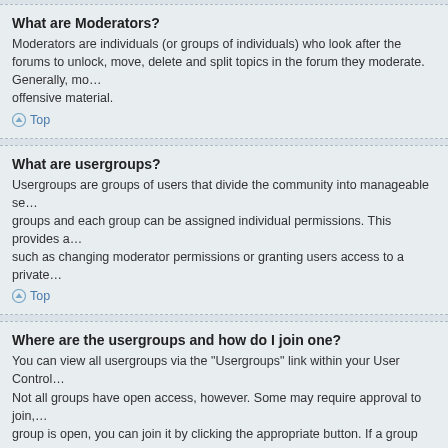What are Moderators?
Moderators are individuals (or groups of individuals) who look after the forums to unlock, move, delete and split topics in the forum they moderate. Generally, moderators are present to prevent offensive material.
Top
What are usergroups?
Usergroups are groups of users that divide the community into manageable sections. Board administrators can work with usergroups and each group can be assigned individual permissions. This provides an easy way for administrators to change permissions for many users at once, such as changing moderator permissions or granting users access to a private forum.
Top
Where are the usergroups and how do I join one?
You can view all usergroups via the “Usergroups” link within your User Control Panel. Not all groups have open access, however. Some may require approval to join, some may be closed and some may even have hidden memberships. If the group is open, you can join it by clicking the appropriate button. If a group requires approval to join you may request to join by clicking the appropriate button. The user group leader will need to approve your request and may ask why you want to join the group. Please do not harass a group leader if they reject your request; they will have their reasons.
Top
How do I become a usergroup leader?
A usergroup leader is usually assigned when usergroups are initially created by a board administrator. If you are interested in creating a usergroup, your first point of contact should be an administrator; try sending a private message.
Top